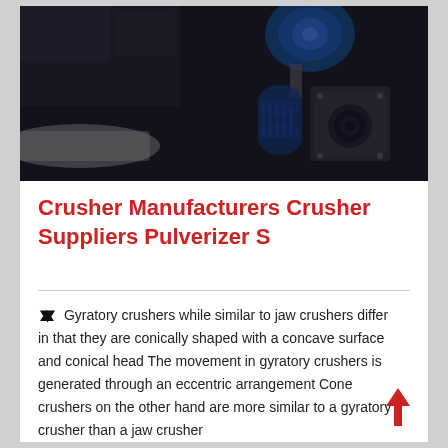[Figure (photo): Dark industrial photo showing heavy machinery — a crusher or pulverizer with a blue motor/gear unit and a metal housing, set in a dark factory environment]
Crusher Manufacturers Crusher Suppliers Pulverizer S
Gyratory crushers while similar to jaw crushers differ in that they are conically shaped with a concave surface and conical head The movement in gyratory crushers is generated through an eccentric arrangement Cone crushers on the other hand are more similar to a gyratory crusher than a jaw crusher